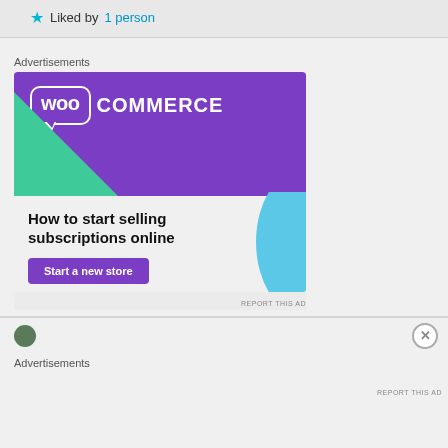★ Liked by 1 person
Advertisements
[Figure (screenshot): WooCommerce advertisement banner showing the WooCommerce logo with speech bubble on a purple background, a green triangle decoration, the headline 'How to start selling subscriptions online', a 'Start a new store' purple button, and a blue curved shape decoration in the bottom right.]
REPORT THIS AD
Advertisements
REPORT THIS AD